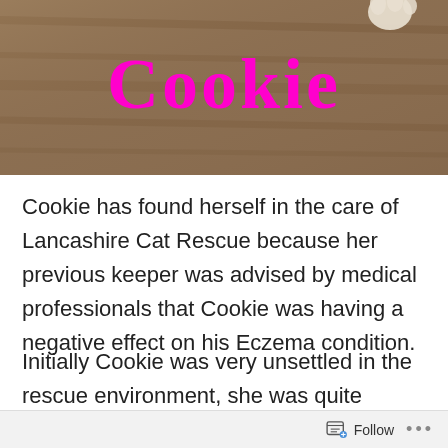[Figure (photo): Photo of a cat (partially visible paw at top) on a wooden floor surface, with the name 'Cookie' written in bold magenta/pink text overlaid on the image.]
Cookie
Cookie has found herself in the care of Lancashire Cat Rescue because her previous keeper was advised by medical professionals that Cookie was having a negative effect on his Eczema condition.
Initially Cookie was very unsettled in the rescue environment, she was quite manic & had an unfortunate liking for attacking feet and generally seemed to be unhappy with her lot.
Follow